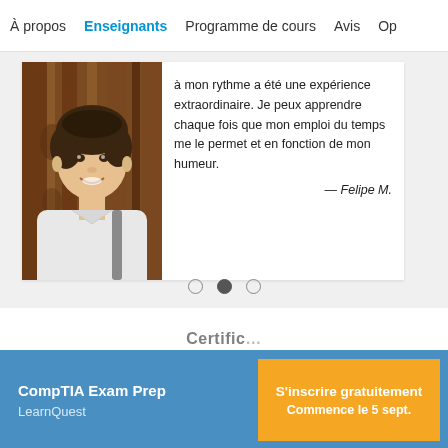À propos  Enseignants  Programme de cours  Avis  Op
à mon rythme a été une expérience extraordinaire. Je peux apprendre chaque fois que mon emploi du temps me le permet et en fonction de mon humeur.
— Felipe M.
[Figure (photo): Photo of a young smiling male student]
CompTIA Exam Prep
LearnQuest
S'inscrire gratuitement
Commence le 5 sept.